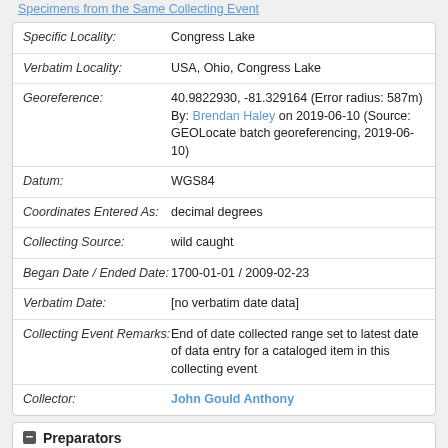Specimens from the Same Collecting Event
| Field | Value |
| --- | --- |
| Specific Locality: | Congress Lake |
| Verbatim Locality: | USA, Ohio, Congress Lake |
| Georeference: | 40.9822930, -81.329164 (Error radius: 587m)
By: Brendan Haley on 2019-06-10 (Source: GEOLocate batch georeferencing, 2019-06-10) |
| Datum: | WGS84 |
| Coordinates Entered As: | decimal degrees |
| Collecting Source: | wild caught |
| Began Date / Ended Date: | 1700-01-01 / 2009-02-23 |
| Verbatim Date: | [no verbatim date data] |
| Collecting Event Remarks: | End of date collected range set to latest date of data entry for a cataloged item in this collecting event |
| Collector: | John Gould Anthony |
Preparators
None